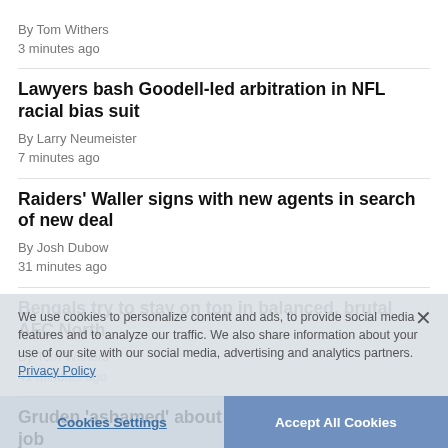By Tom Withers
3 minutes ago
Lawyers bash Goodell-led arbitration in NFL racial bias suit
By Larry Neumeister
7 minutes ago
Raiders' Waller signs with new agents in search of new deal
By Josh Dubow
31 minutes ago
Bengals try to stay on top in balanced, brutal AFC North
By Tom Withers
41 minutes ago
Gruden 'ashamed' about emails that cost him his job
47 minutes ago